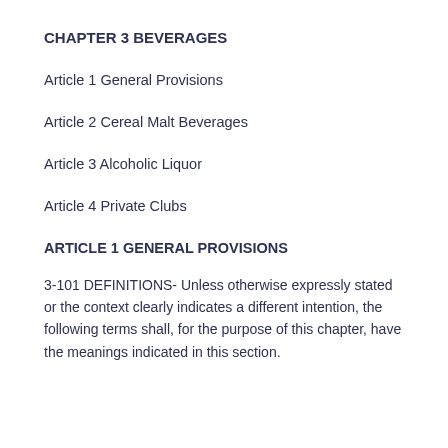CHAPTER 3 BEVERAGES
Article 1 General Provisions
Article 2 Cereal Malt Beverages
Article 3 Alcoholic Liquor
Article 4 Private Clubs
ARTICLE 1 GENERAL PROVISIONS
3-101 DEFINITIONS- Unless otherwise expressly stated or the context clearly indicates a different intention, the following terms shall, for the purpose of this chapter, have the meanings indicated in this section.